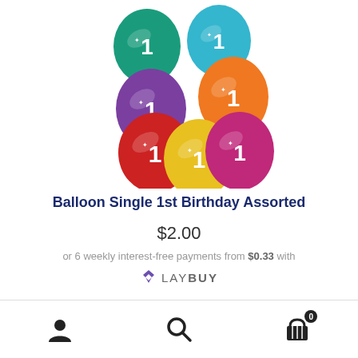[Figure (photo): Colorful assorted birthday balloons with the number 1 printed on them. Colors include teal/green, purple, orange, red, yellow, and magenta/pink.]
Balloon Single 1st Birthday Assorted
$2.00
or 6 weekly interest-free payments from $0.33 with LAYBUY
[Figure (logo): Laybuy logo with purple heart-check mark and text LAYBUY]
Navigation bar with account icon, search icon, and cart icon with badge showing 0